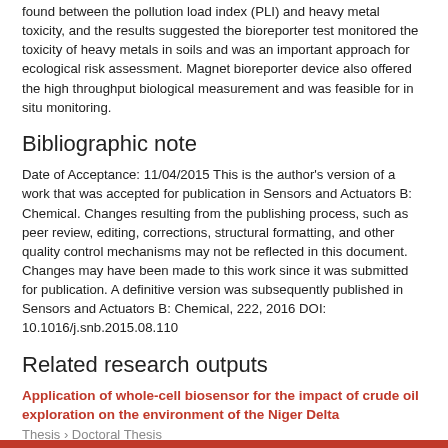found between the pollution load index (PLI) and heavy metal toxicity, and the results suggested the bioreporter test monitored the toxicity of heavy metals in soils and was an important approach for ecological risk assessment. Magnet bioreporter device also offered the high throughput biological measurement and was feasible for in situ monitoring.
Bibliographic note
Date of Acceptance: 11/04/2015 This is the author's version of a work that was accepted for publication in Sensors and Actuators B: Chemical. Changes resulting from the publishing process, such as peer review, editing, corrections, structural formatting, and other quality control mechanisms may not be reflected in this document. Changes may have been made to this work since it was submitted for publication. A definitive version was subsequently published in Sensors and Actuators B: Chemical, 222, 2016 DOI: 10.1016/j.snb.2015.08.110
Related research outputs
Application of whole-cell biosensor for the impact of crude oil exploration on the environment of the Niger Delta
Thesis › Doctoral Thesis